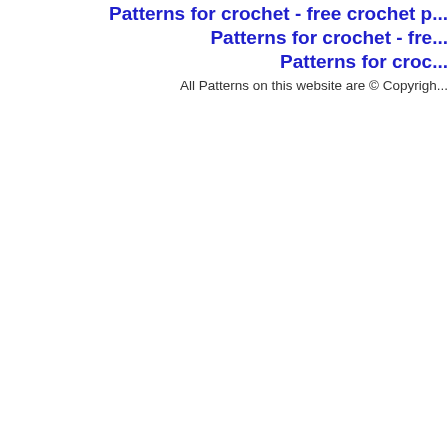Patterns for crochet - free crochet pa... | Patterns for crochet - fre... | Patterns for croc...
All Patterns on this website are © Copyrigh...